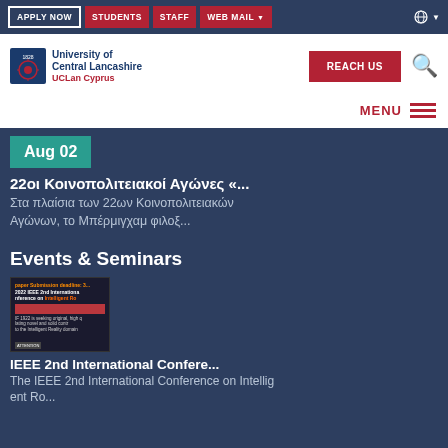APPLY NOW | STUDENTS | STAFF | WEB MAIL
[Figure (logo): University of Central Lancashire UCLan Cyprus logo with shield emblem]
REACH US
MENU
Aug 02
22οι Κοινοπολιτειακοί Αγώνες «...
Στα πλαίσια των 22ων Κοινοπολιτειακών Αγώνων, το Μπέρμιγχαμ φιλοξ...
Events & Seminars
[Figure (screenshot): Thumbnail image showing IEEE 2nd International Conference on Intelligent Robotics flyer with dark background and orange text]
IEEE 2nd International Confere...
The IEEE 2nd International Conference on Intellig ent Ro...